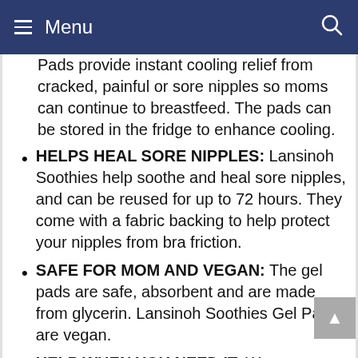Menu
Pads provide instant cooling relief from cracked, painful or sore nipples so moms can continue to breastfeed. The pads can be stored in the fridge to enhance cooling.
HELPS HEAL SORE NIPPLES: Lansinoh Soothies help soothe and heal sore nipples, and can be reused for up to 72 hours. They come with a fabric backing to help protect your nipples from bra friction.
SAFE FOR MOM AND VEGAN: The gel pads are safe, absorbent and are made from glycerin. Lansinoh Soothies Gel Pads are vegan.
HELP WHEN YOU NEED IT: We understand that sometimes breastfeeding moms need a little help. That's why we provide a range of products from soothing lanolin to